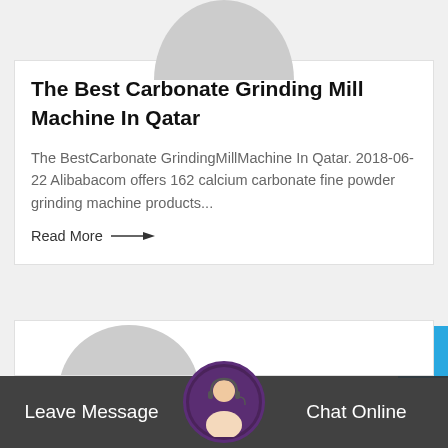[Figure (illustration): Circular grey avatar/profile placeholder image at the top of a card]
The Best Carbonate Grinding Mill Machine In Qatar
The BestCarbonate GrindingMillMachine In Qatar. 2018-06-22 Alibabacom offers 162 calcium carbonate fine powder grinding machine products...
Read More →
[Figure (illustration): Circular grey avatar/profile placeholder image at the top of a second card]
Leave Message
[Figure (photo): Customer service representative with headset, circular avatar in bottom bar]
Chat Online